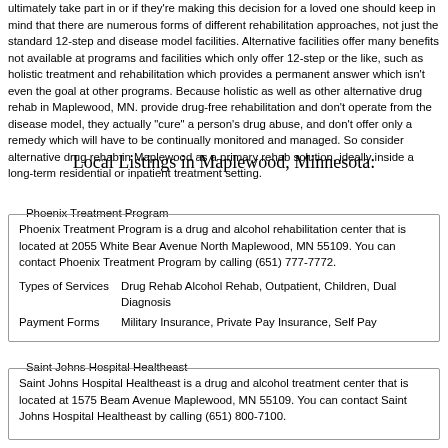ultimately take part in or if they're making this decision for a loved one should keep in mind that there are numerous forms of different rehabilitation approaches, not just the standard 12-step and disease model facilities. Alternative facilities offer many benefits not available at programs and facilities which only offer 12-step or the like, such as holistic treatment and rehabilitation which provides a permanent answer which isn't even the goal at other programs. Because holistic as well as other alternative drug rehab in Maplewood, MN. provide drug-free rehabilitation and don't operate from the disease model, they actually "cure" a person's drug abuse, and don't offer only a remedy which will have to be continually monitored and managed. So consider alternative drug rehab in Maplewood as a primary rehab solution, ideally inside a long-term residential or inpatient treatment setting.
Local Listings in Maplewood, Minnesota:
Phoenix Treatment Program
Phoenix Treatment Program is a drug and alcohol rehabilitation center that is located at 2055 White Bear Avenue North Maplewood, MN 55109. You can contact Phoenix Treatment Program by calling (651) 777-7772.
Types of Services: Drug Rehab Alcohol Rehab, Outpatient, Children, Dual Diagnosis
Payment Forms: Military Insurance, Private Pay Insurance, Self Pay
Saint Johns Hospital Healtheast
Saint Johns Hospital Healtheast is a drug and alcohol treatment center that is located at 1575 Beam Avenue Maplewood, MN 55109. You can contact Saint Johns Hospital Healtheast by calling (651) 800-7100.